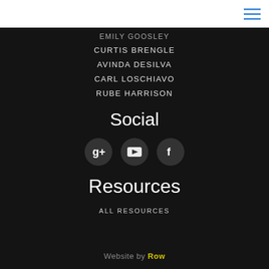[Figure (logo): Blue bat/dragon wing logo on white header background]
EMILY GOOSLEY
CURTIS BRENGLE
AVINDA DESILVA
CARL LOSCHIAVO
RUBE HARRISON
Social
[Figure (infographic): Three social media icons in dark circular buttons: Google+, YouTube, Facebook]
Resources
ALL RESOURCES
Website by Row